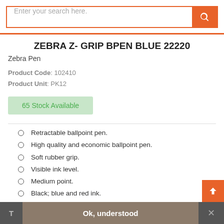Enter your search here.
ZEBRA Z- GRIP BPEN BLUE 22220
Zebra Pen
Product Code: 102410
Product Unit: PK12
65 Stock Available
Retractable ballpoint pen.
High quality and economic ballpoint pen.
Soft rubber grip.
Visible ink level.
Medium point.
Black; blue and red ink.
Colour: Blue
Retractable ballpoint pen.
Ok, understood